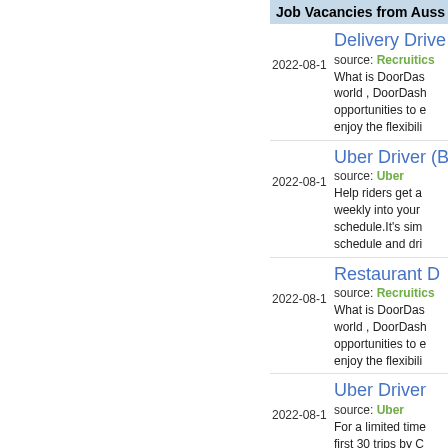Job Vacancies from Auss...
Delivery Drive... | 2022-08-1 | source: Recruitics | What is DoorDas... world , DoorDash... opportunities to e... enjoy the flexibili...
Uber Driver (B... | 2022-08-1 | source: Uber | Help riders get a... weekly into your... schedule.It's sim... schedule and dri...
Restaurant D... | 2022-08-1 | source: Recruitics | What is DoorDas... world , DoorDash... opportunities to e... enjoy the flexibili...
Uber Driver | 2022-08-1 | source: Uber | For a limited time... first 30 trips by C... drivers who have... complete the min...
Menulog Deli...